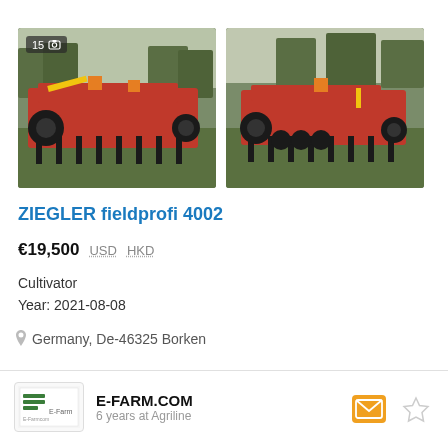[Figure (photo): Red ZIEGLER fieldprofi 4002 cultivator agricultural machine photographed on grass, showing front-left view. Badge showing '15' and camera icon in top-left corner.]
[Figure (photo): Red ZIEGLER fieldprofi 4002 cultivator agricultural machine photographed on grass, showing front-right view.]
ZIEGLER fieldprofi 4002
€19,500  USD  HKD
Cultivator
Year: 2021-08-08
Germany, De-46325 Borken
E-FARM.COM
6 years at Agriline